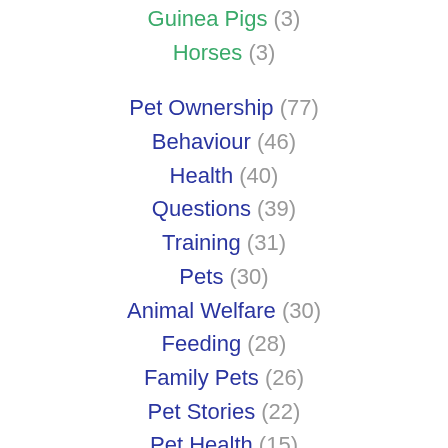Guinea Pigs (3)
Horses (3)
Pet Ownership (77)
Behaviour (46)
Health (40)
Questions (39)
Training (31)
Pets (30)
Animal Welfare (30)
Feeding (28)
Family Pets (26)
Pet Stories (22)
Pet Health (15)
Pet Professionals (14)
Puppy Tips (12)
Safety (10)